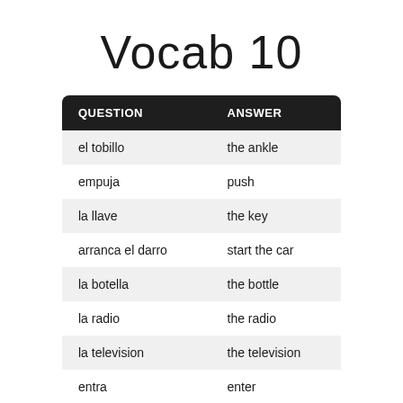Vocab 10
| QUESTION | ANSWER |
| --- | --- |
| el tobillo | the ankle |
| empuja | push |
| la llave | the key |
| arranca el darro | start the car |
| la botella | the bottle |
| la radio | the radio |
| la television | the television |
| entra | enter |